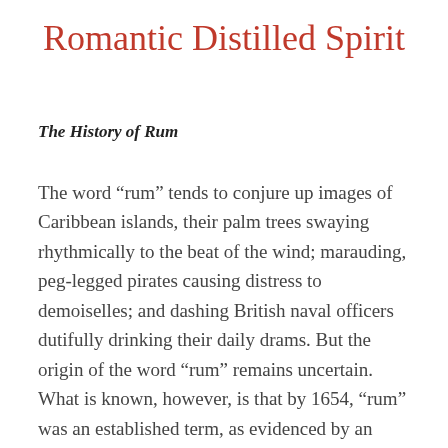Romantic Distilled Spirit
The History of Rum
The word “rum” tends to conjure up images of Caribbean islands, their palm trees swaying rhythmically to the beat of the wind; marauding, peg-legged pirates causing distress to demoiselles; and dashing British naval officers dutifully drinking their daily drams. But the origin of the word “rum” remains uncertain. What is known, however, is that by 1654, “rum” was an established term, as evidenced by an order by the General Court of Connecticut confiscating “whatsoever Barbados liquors, commonly called rum, kill devil, and the like”. And three years later, in 1657, the General